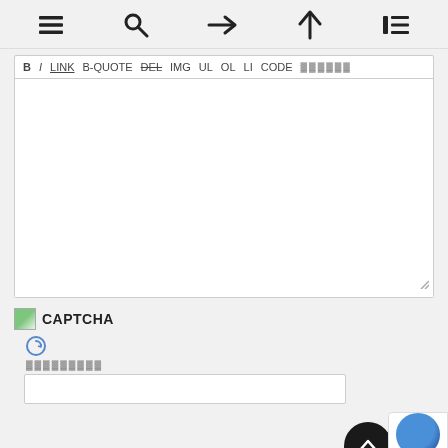☰  🔍  →  ↑  ☰
[Figure (screenshot): Toolbar with formatting buttons: B, I, LINK, B-QUOTE, DEL, IMG, UL, OL, LI, CODE, and dots]
[Figure (screenshot): Large empty text area with resize handle]
CAPTCHA
[Figure (screenshot): Refresh icon and CAPTCHA dots label and input field]
[Figure (screenshot): reCAPTCHA badge with dark blue ball and terms label, and back-to-top FAB button]